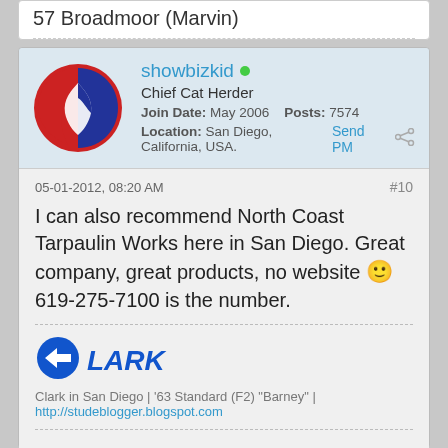57 Broadmoor (Marvin)
showbizkid • Chief Cat Herder
Join Date: May 2006    Posts: 7574
Location: San Diego, California, USA.    Send PM
05-01-2012, 08:20 AM    #10
I can also recommend North Coast Tarpaulin Works here in San Diego. Great company, great products, no website 🙂 619-275-7100 is the number.
[Figure (logo): LARK logo with blue arrow/circle icon and italic blue text LARK]
Clark in San Diego | '63 Standard (F2) "Barney" | http://studeblogger.blogspot.com
cvytrk • Deactivated